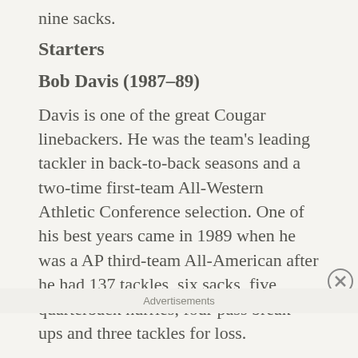nine sacks.
Starters
Bob Davis (1987–89)
Davis is one of the great Cougar linebackers. He was the team's leading tackler in back-to-back seasons and a two-time first-team All-Western Athletic Conference selection. One of his best years came in 1989 when he was a AP third-team All-American after he had 137 tackles, six sacks, five quarterback hurries, four pass break-ups and three tackles for loss.
Advertisements